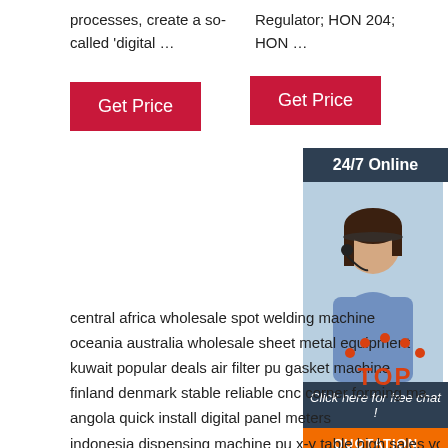processes, create a so-called 'digital …
Regulator; HON 204; HON …
[Figure (other): Red 'Get Price' button (left column)]
[Figure (other): Red 'Get Price' button (right column)]
[Figure (other): 24/7 Online customer service agent sidebar with chat and quotation button]
central africa wholesale spot welding machine
oceania australia wholesale sheet metal equipment
kuwait popular deals air filter pu gasket machine
finland denmark stable reliable cnc corner forming ma…
angola quick install digital panel meters
indonesia dispensing machine pu x-y table high sales volume
myanmar customer-recognized sheet metal forming machine
kazakhstan fast delivery gasket machine
china adapt wide range ab mixing system
air filter horizontal folding gluing making machine abundant models
[Figure (other): TOP badge in orange/red with dots]